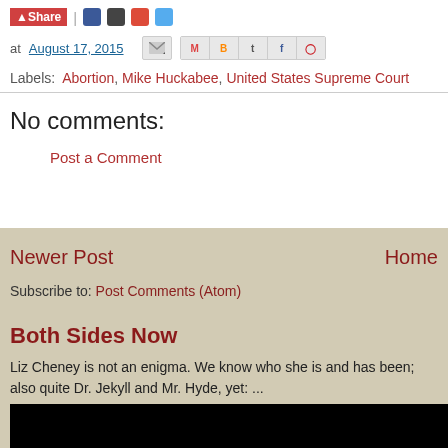Share | [social icons]
at August 17, 2015 [share buttons]
Labels: Abortion, Mike Huckabee, United States Supreme Court
No comments:
Post a Comment
Newer Post    Home
Subscribe to: Post Comments (Atom)
Both Sides Now
Liz Cheney is not an enigma. We know who she is and has been; also quite Dr. Jekyll and Mr. Hyde, yet: ...